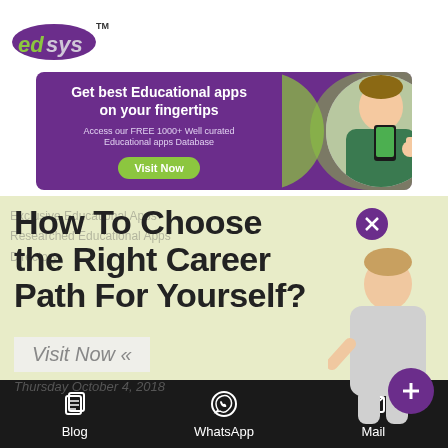[Figure (logo): edsys logo with purple oval background and green 'ed' text, grey 'sys' text, TM mark]
[Figure (infographic): Purple banner ad: 'Get best Educational apps on your fingertips', 'Access our FREE 1000+ Well curated Educational apps Database', 'Visit Now' button, woman holding phone on right]
How To Choose the Right Career Path For Yourself?
Thursday October 4, 2018
[Figure (illustration): Woman figure on right side with purple plus button]
Blog   WhatsApp   Mail